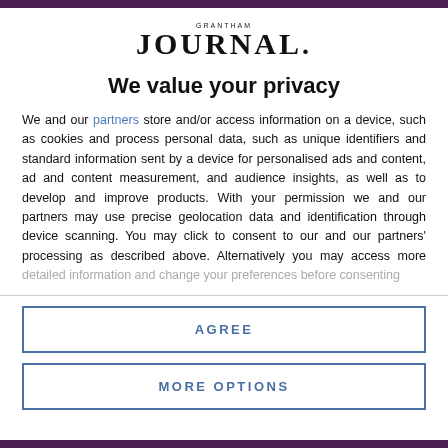[Figure (logo): Grantham Journal logo with 'GRANTHAM' in small caps above 'JOURNAL.' in large serif text]
We value your privacy
We and our partners store and/or access information on a device, such as cookies and process personal data, such as unique identifiers and standard information sent by a device for personalised ads and content, ad and content measurement, and audience insights, as well as to develop and improve products. With your permission we and our partners may use precise geolocation data and identification through device scanning. You may click to consent to our and our partners' processing as described above. Alternatively you may access more detailed information and change your preferences before consenting
AGREE
MORE OPTIONS